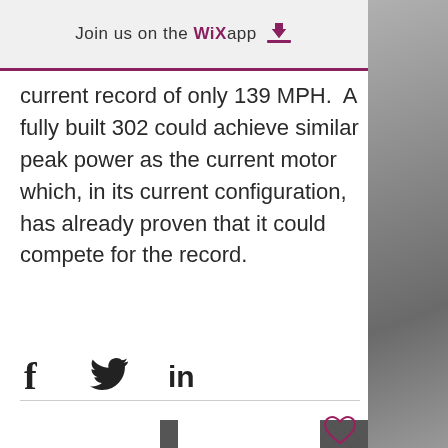Join us on the WiX app ↓
current record of only 139 MPH.  A fully built 302 could achieve similar peak power as the current motor which, in its current configuration, has already proven that it could compete for the record.
[Figure (other): Social share icons: Facebook (f), Twitter (bird), LinkedIn (in)]
[Figure (other): Heart/like icon (outline heart shape in purple/maroon color)]